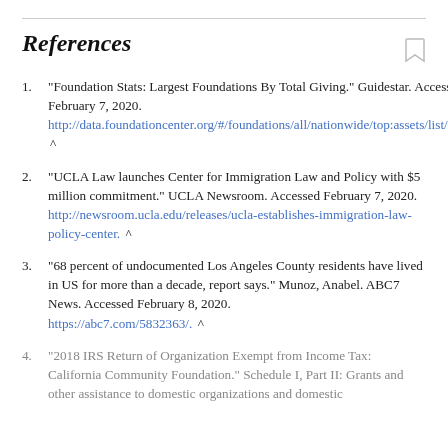References
"Foundation Stats: Largest Foundations By Total Giving." Guidestar. Accessed February 7, 2020. http://data.foundationcenter.org/#/foundations/all/nationwide/top:assets/list/2015. ^
"UCLA Law launches Center for Immigration Law and Policy with $5 million commitment." UCLA Newsroom. Accessed February 7, 2020. http://newsroom.ucla.edu/releases/ucla-establishes-immigration-law-policy-center. ^
"68 percent of undocumented Los Angeles County residents have lived in US for more than a decade, report says." Munoz, Anabel. ABC7 News. Accessed February 8, 2020. https://abc7.com/5832363/. ^
"2018 IRS Return of Organization Exempt from Income Tax: California Community Foundation." Schedule I, Part II: Grants and other assistance to domestic organizations and domestic